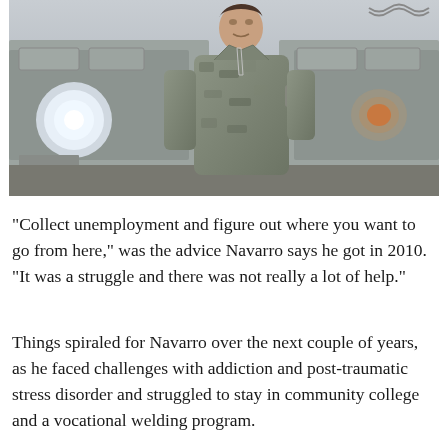[Figure (photo): A young male soldier in US Army camouflage uniform standing in front of a military vehicle (HUMVEE), smiling slightly, posing for the camera.]
“Collect unemployment and figure out where you want to go from here,” was the advice Navarro says he got in 2010. “It was a struggle and there was not really a lot of help.”
Things spiraled for Navarro over the next couple of years, as he faced challenges with addiction and post-traumatic stress disorder and struggled to stay in community college and a vocational welding program.